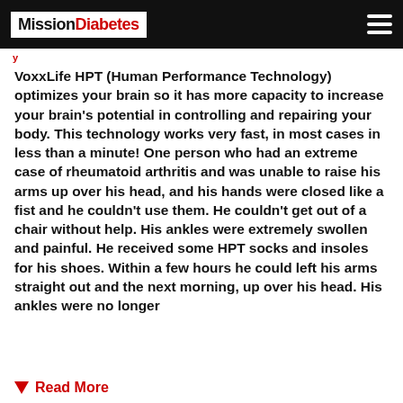MissionDiabetes
VoxxLife HPT (Human Performance Technology) optimizes your brain so it has more capacity to increase your brain's potential in controlling and repairing your body. This technology works very fast, in most cases in less than a minute! One person who had an extreme case of rheumatoid arthritis and was unable to raise his arms up over his head, and his hands were closed like a fist and he couldn't use them. He couldn't get out of a chair without help. His ankles were extremely swollen and painful. He received some HPT socks and insoles for his shoes. Within a few hours he could left his arms straight out and the next morning, up over his head. His ankles were no longer
Read More